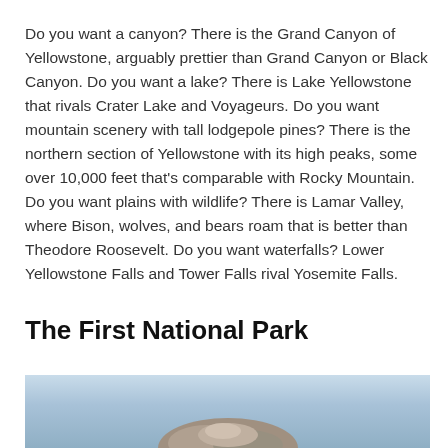Do you want a canyon? There is the Grand Canyon of Yellowstone, arguably prettier than Grand Canyon or Black Canyon. Do you want a lake? There is Lake Yellowstone that rivals Crater Lake and Voyageurs. Do you want mountain scenery with tall lodgepole pines? There is the northern section of Yellowstone with its high peaks, some over 10,000 feet that's comparable with Rocky Mountain. Do you want plains with wildlife? There is Lamar Valley, where Bison, wolves, and bears roam that is better than Theodore Roosevelt. Do you want waterfalls? Lower Yellowstone Falls and Tower Falls rival Yosemite Falls.
The First National Park
[Figure (photo): Partial photo showing what appears to be a rocky formation or geyser with a light blue sky background, cropped at the bottom of the page.]